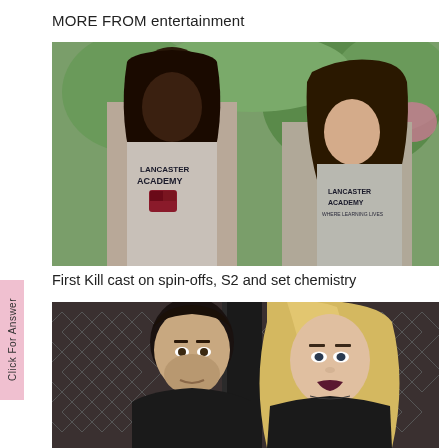MORE FROM entertainment
[Figure (photo): Two young women wearing Lancaster Academy t-shirts standing outdoors, one with long dark hair and one with long brown hair]
First Kill cast on spin-offs, S2 and set chemistry
[Figure (photo): A man with dark hair in a black outfit and a woman with long blonde hair and dark lipstick, photographed at a formal event against a dark background]